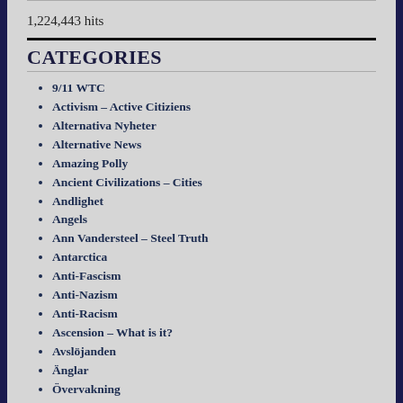1,224,443 hits
CATEGORIES
9/11 WTC
Activism – Active Citiziens
Alternativa Nyheter
Alternative News
Amazing Polly
Ancient Civilizations – Cities
Andlighet
Angels
Ann Vandersteel – Steel Truth
Antarctica
Anti-Fascism
Anti-Nazism
Anti-Racism
Ascension – What is it?
Avslöjanden
Änglar
Övervakning